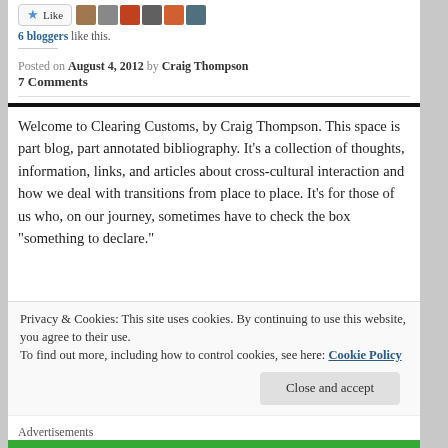[Figure (other): Like button with star icon and row of blogger avatar thumbnails]
6 bloggers like this.
Posted on August 4, 2012 by Craig Thompson
7 Comments
Welcome to Clearing Customs, by Craig Thompson. This space is part blog, part annotated bibliography. It’s a collection of thoughts, information, links, and articles about cross-cultural interaction and how we deal with transitions from place to place. It’s for those of us who, on our journey, sometimes have to check the box “something to declare.”
Privacy & Cookies: This site uses cookies. By continuing to use this website, you agree to their use.
To find out more, including how to control cookies, see here: Cookie Policy
Close and accept
Advertisements